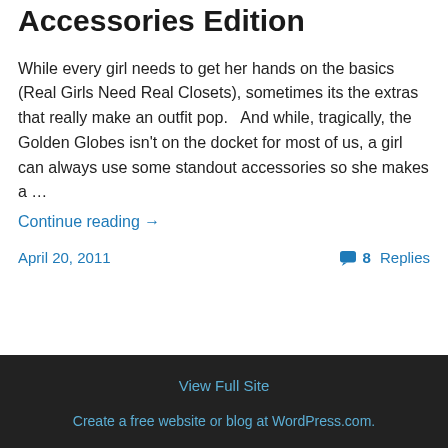Accessories Edition
While every girl needs to get her hands on the basics (Real Girls Need Real Closets), sometimes its the extras that really make an outfit pop.   And while, tragically, the Golden Globes isn't on the docket for most of us, a girl can always use some standout accessories so she makes a …
Continue reading →
April 20, 2011    8 Replies
View Full Site
Create a free website or blog at WordPress.com.